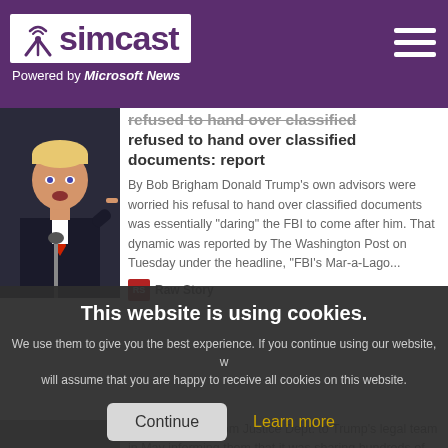simcast — Powered by Microsoft News
[Figure (photo): Photo of Donald Trump speaking at a podium, pointing with one finger]
refused to hand over classified documents: report
By Bob Brigham Donald Trump's own advisors were worried his refusal to hand over classified documents was essentially "daring" the FBI to come after him. That dynamic was reported by The Washington Post on Tuesday under the headline, "FBI's Mar-a-Lago...
Raw Story
This website is using cookies. We use them to give you the best experience. If you continue using our website, we will assume that you are happy to receive all cookies on this website.
sharing a letter from Justice Dept. to Trump's legal team in May informing them that it was sharing hundreds of pages of classified material it had retrieved...
CNN